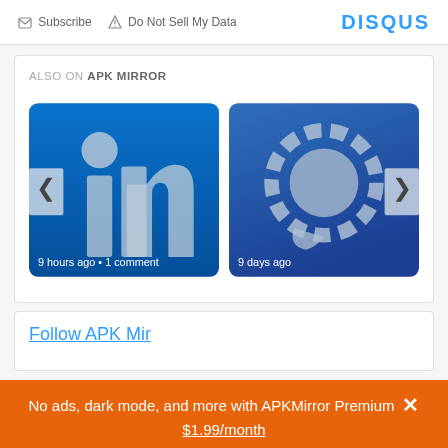Subscribe  Do Not Sell My Data  DISQUS
ALSO ON APK MIRROR
[Figure (screenshot): LinkedIn app icon card showing the LinkedIn 'in' logo in white/grey on blue background, with navigation arrows and caption '9 hours ago • 1 comment']
[Figure (screenshot): Signal app icon card showing the Signal logo (speech bubble with dashed border) in grey on blue background, with navigation arrow and caption '9 days ago']
Follow APK Mi...
No ads, dark mode, and more with APKMirror Premium ✕
$1.99/month